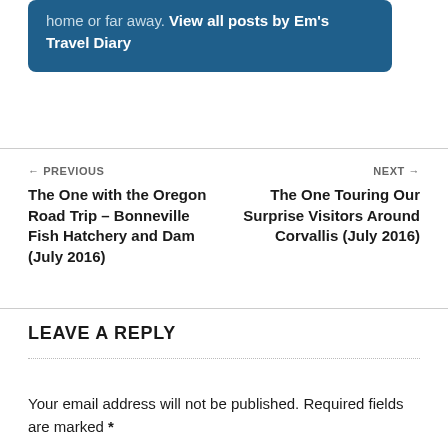home or far away. View all posts by Em's Travel Diary
← PREVIOUS
The One with the Oregon Road Trip – Bonneville Fish Hatchery and Dam (July 2016)
NEXT →
The One Touring Our Surprise Visitors Around Corvallis (July 2016)
LEAVE A REPLY
Your email address will not be published. Required fields are marked *